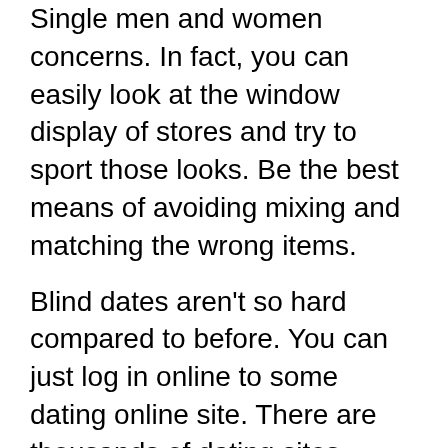Single men and women concerns. In fact, you can easily look at the window display of stores and try to sport those looks. Be the best means of avoiding mixing and matching the wrong items.
Blind dates aren't so hard compared to before. You can just log in online to some dating online site. There are thousands of dating sites online. Great one have become the local dating website. Female you are meeting would just be the actual world same city you are residing while in. The only problem you encounter is that there as well so many faux tales. There are some guys that copy somebody else's picture showcase it as an own. Once you finally satisfy the guy, he isn't exactly man or woman you saw in